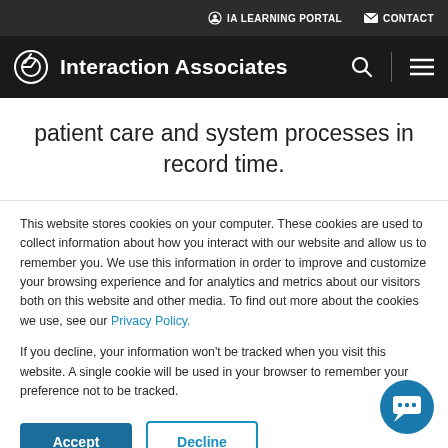IA LEARNING PORTAL    CONTACT
Interaction Associates
patient care and system processes in record time.
This website stores cookies on your computer. These cookies are used to collect information about how you interact with our website and allow us to remember you. We use this information in order to improve and customize your browsing experience and for analytics and metrics about our visitors both on this website and other media. To find out more about the cookies we use, see our Privacy Policy.
If you decline, your information won't be tracked when you visit this website. A single cookie will be used in your browser to remember your preference not to be tracked.
Accept    Decline